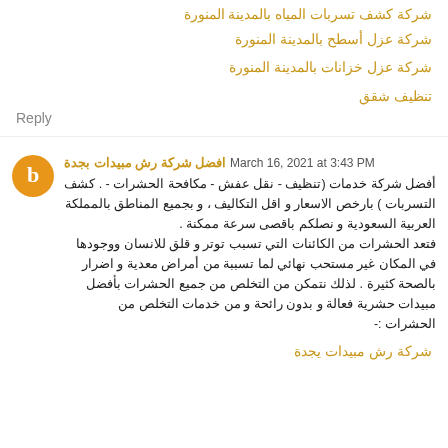شركة كشف تسربات المياه بالمدينة المنورة
شركة عزل أسطح بالمدينة المنورة
شركة عزل خزانات بالمدينة المنورة
تنظيف شقق
Reply
افضل شركة رش مبيدات بجدة March 16, 2021 at 3:43 PM
أفضل شركة خدمات (تنظيف - نقل عفش - مكافحة الحشرات - . كشف التسربات ) بارخص الاسعار و اقل التكاليف ، و بجميع المناطق بالمملكة العربية السعودية و نصلكم باقصى سرعة ممكنة . فتعد الحشرات من الكائنات التي تسبب توتر و قلق للانسان ووجودها في المكان غير مستحب نهائي لما تسببة من أمراض معدية و اضرار بالصحة كثيرة . لذلك نتمكن من التخلص من جميع الحشرات بأفضل مبيدات حشرية فعالة و بدون رائحة و من خدمات التخلص من الحشرات :-
شركة رش مبيدات يجدة